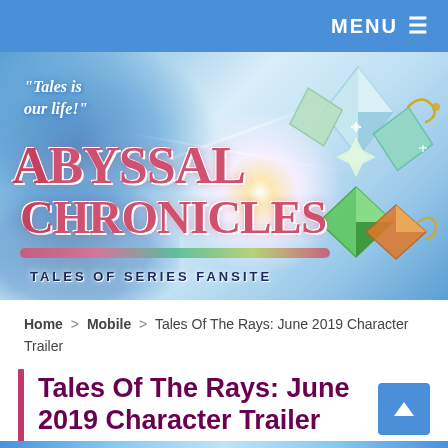MENU ☰
[Figure (illustration): Abyssal Chronicles Tales of Series Fansite banner with logo, gem crystals, and tagline 'Tales is our life!']
Home > Mobile > Tales Of The Rays: June 2019 Character Trailer
Tales Of The Rays: June 2019 Character Trailer